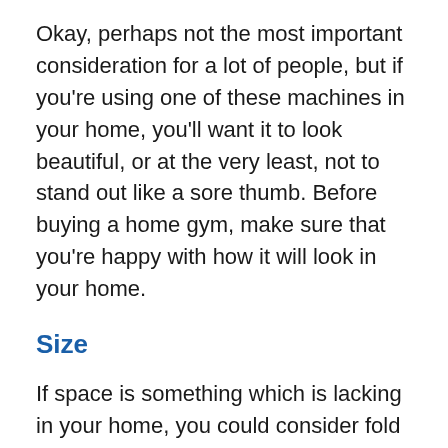Okay, perhaps not the most important consideration for a lot of people, but if you're using one of these machines in your home, you'll want it to look beautiful, or at the very least, not to stand out like a sore thumb. Before buying a home gym, make sure that you're happy with how it will look in your home.
Size
If space is something which is lacking in your home, you could consider fold away home gyms instead. As you can probably guess, these home gyms are designed to fold away and be stored in cupboards, under beds, or propped up neatly in the corner to provide you with a